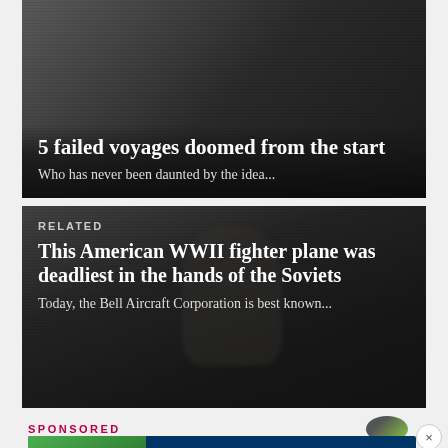[Figure (photo): Dark grayscale photo card showing '5 failed voyages doomed from the start' article preview with subtitle 'Who has never been daunted by the idea...']
5 failed voyages doomed from the start
Who has never been daunted by the idea...
[Figure (photo): Dark grayscale photo of a WWII pilot with a fighter plane, labeled RELATED, article: 'This American WWII fighter plane was deadliest in the hands of the Soviets', subtitle: 'Today, the Bell Aircraft Corporation is best known...']
RELATED
This American WWII fighter plane was deadliest in the hands of the Soviets
Today, the Bell Aircraft Corporation is best known...
SPONSORED
[Figure (screenshot): Navy Federal Credit Union ad banner: 'Earn up to 1.75% cash back on all purchases' with green credit card graphic and LEARN MORE button]